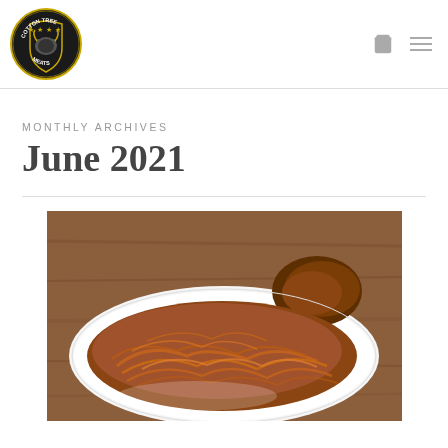Cotton Tree Meats — site header with logo and navigation
MONTHLY ARCHIVES
June 2021
[Figure (photo): A plate of pulled pork with shredded meat piled high and a bone visible, served on a white plate on a wooden surface.]